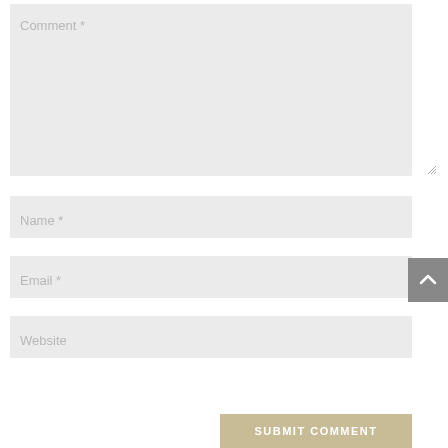[Figure (screenshot): Web comment form with four input fields: Comment (large textarea), Name, Email, Website text inputs, a scroll-to-top button, and a Submit Comment button]
Comment *
Name *
Email *
Website
SUBMIT COMMENT